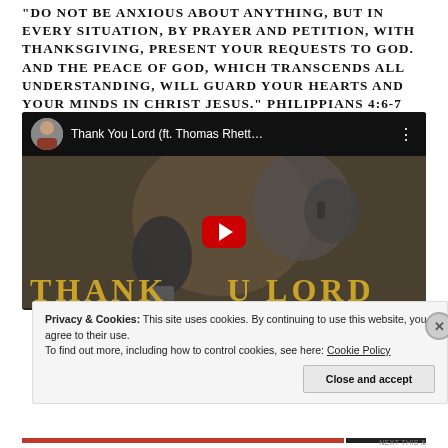"Do not be anxious about anything, but in every situation, by prayer and petition, with thanksgiving, present your requests to God. And the peace of God, which transcends all understanding, will guard your hearts and your minds in Christ Jesus." Philippians 4:6-7
[Figure (screenshot): YouTube embed thumbnail for 'Thank You Lord (ft. Thomas Rhett...)' showing a person singing into a microphone with headphones, with 'THANK YOU LORD' text overlay in gold and a red YouTube play button in the center.]
Privacy & Cookies: This site uses cookies. By continuing to use this website, you agree to their use.
To find out more, including how to control cookies, see here: Cookie Policy